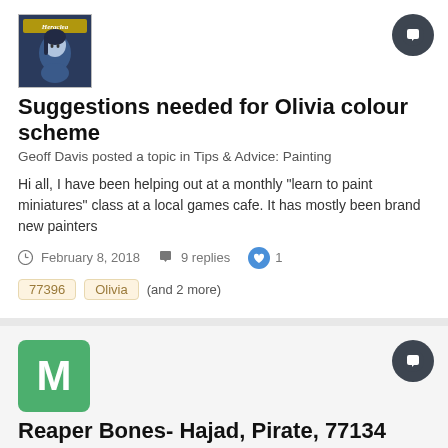[Figure (illustration): User avatar showing a stylized blue-toned illustrated character with 'Heraclea' label at top, on dark blue background]
Suggestions needed for Olivia colour scheme
Geoff Davis posted a topic in Tips & Advice: Painting
Hi all, I have been helping out at a monthly "learn to paint miniatures" class at a local games cafe. It has mostly been brand new painters
February 8, 2018   9 replies   1
77396   Olivia   (and 2 more)
[Figure (illustration): Green square avatar with white letter M]
Reaper Bones- Hajad, Pirate, 77134
MelmothWanders posted a topic in Show Off: Painting
This little fella came out alright I think. My first successful attempt at painting human eyes at this scale.